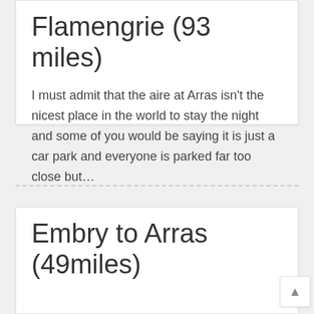Flamengrie (93 miles)
I must admit that the aire at Arras isn't the nicest place in the world to stay the night and some of you would be saying it is just a car park and everyone is parked far too close but…
Mark  April 20, 2014  France  Arras to La Flamengrie (93 miles)
Embry to Arras (49miles)